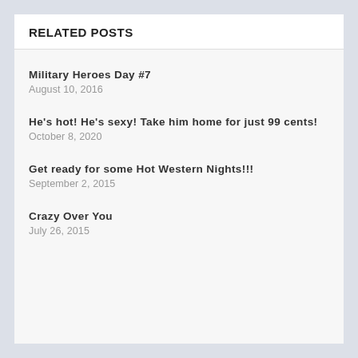RELATED POSTS
Military Heroes Day #7
August 10, 2016
He's hot! He's sexy! Take him home for just 99 cents!
October 8, 2020
Get ready for some Hot Western Nights!!!
September 2, 2015
Crazy Over You
July 26, 2015